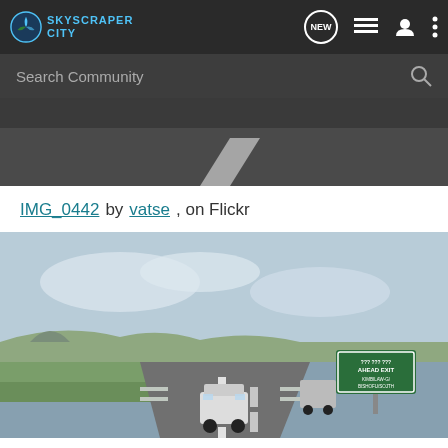[Figure (screenshot): SkyscraperCity website navbar with logo, NEW button, list icon, user icon, and more options icon, plus a search bar reading 'Search Community']
[Figure (photo): Partial view from inside a car looking at a dark road with a white road marking arrow visible]
IMG_0442 by vatse, on Flickr
[Figure (photo): Photo of a highway with cars driving, green road sign reading 'AHEAD EXIT' with additional text, flat landscape with hills and green fields, cloudy sky]